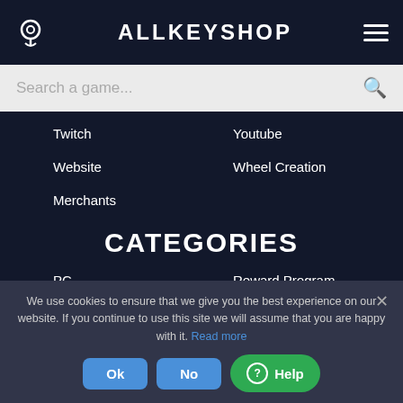ALLKEYSHOP
Search a game...
Twitch
Youtube
Website
Wheel Creation
Merchants
CATEGORIES
PC
Reward Program
Gift Cards
Xbo...
We use cookies to ensure that we give you the best experience on our website. If you continue to use this site we will assume that you are happy with it. Read more